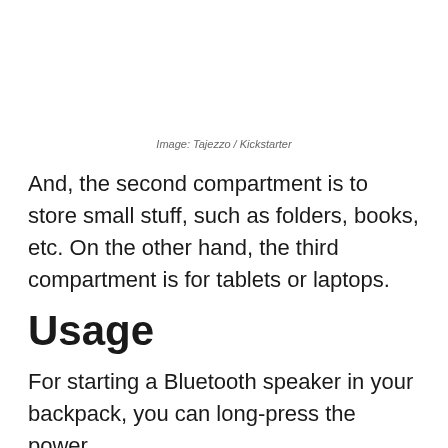Image: Tajezzo / Kickstarter
And, the second compartment is to store small stuff, such as folders, books, etc. On the other hand, the third compartment is for tablets or laptops.
Usage
For starting a Bluetooth speaker in your backpack, you can long-press the power